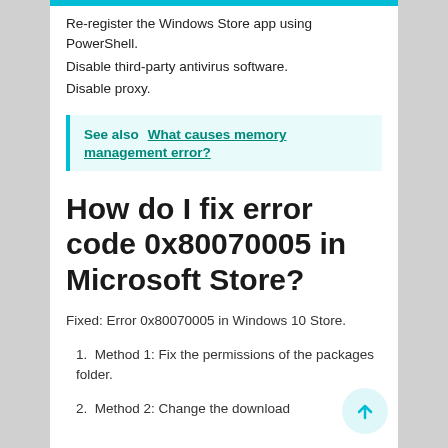Re-register the Windows Store app using PowerShell.
Disable third-party antivirus software.
Disable proxy.
See also  What causes memory management error?
How do I fix error code 0x80070005 in Microsoft Store?
Fixed: Error 0x80070005 in Windows 10 Store.
1. Method 1: Fix the permissions of the packages folder.
2. Method 2: Change the download...